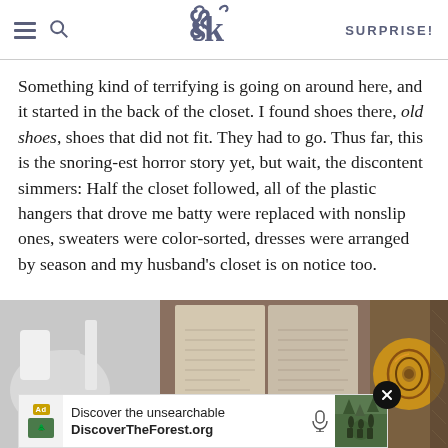SK — SURPRISE!
Something kind of terrifying is going on around here, and it started in the back of the closet. I found shoes there, old shoes, shoes that did not fit. They had to go. Thus far, this is the snoring-est horror story yet, but wait, the discontent simmers: Half the closet followed, all of the plastic hangers that drove me batty were replaced with nonslip ones, sweaters were color-sorted, dresses were arranged by season and my husband's closet is on notice too.
[Figure (photo): Collage of three photos: kitchen items on left, open book/document in center, cinnamon rolls in a pan on right. An ad banner overlays the bottom reading 'Discover the unsearchable / DiscoverTheForest.org']